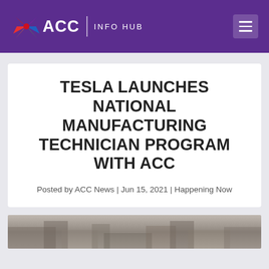ACC INFO HUB
TESLA LAUNCHES NATIONAL MANUFACTURING TECHNICIAN PROGRAM WITH ACC
Posted by ACC News | Jun 15, 2021 | Happening Now
[Figure (photo): Bottom strip of a photo, partially visible, showing what appears to be a manufacturing or industrial setting]